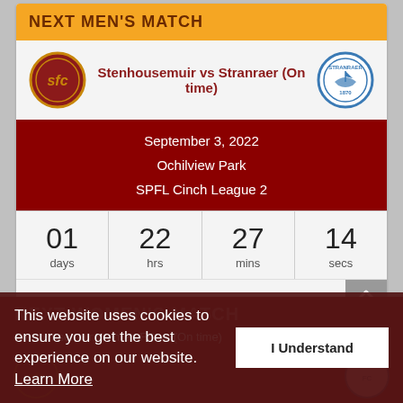NEXT MEN'S MATCH
Stenhousemuir vs Stranraer (On time)
September 3, 2022
Ochilview Park
SPFL Cinch League 2
01 days  22 hrs  27 mins  14 secs
NEXT WOMEN'S MATCH
Stenhousemuir Women FC vs (On time)
This website uses cookies to ensure you get the best experience on our website. Learn More
I Understand